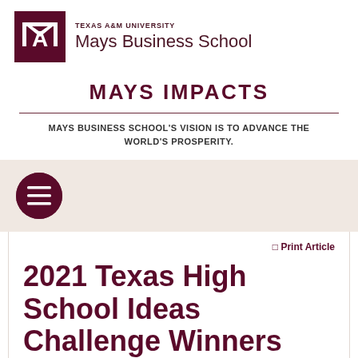[Figure (logo): Texas A&M University Mays Business School logo with ATM block letter mark in maroon]
TEXAS A&M UNIVERSITY
Mays Business School
MAYS IMPACTS
MAYS BUSINESS SCHOOL'S VISION IS TO ADVANCE THE WORLD'S PROSPERITY.
[Figure (other): Hamburger menu button — dark maroon circle with three horizontal white lines]
Print Article
2021 Texas High School Ideas Challenge Winners